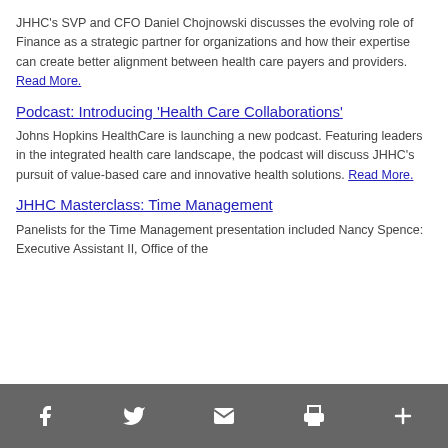JHHC's SVP and CFO Daniel Chojnowski discusses the evolving role of Finance as a strategic partner for organizations and how their expertise can create better alignment between health care payers and providers. Read More.
Podcast: Introducing 'Health Care Collaborations'
Johns Hopkins HealthCare is launching a new podcast. Featuring leaders in the integrated health care landscape, the podcast will discuss JHHC's pursuit of value-based care and innovative health solutions. Read More.
JHHC Masterclass: Time Management
Panelists for the Time Management presentation included Nancy Spence: Executive Assistant II, Office of the
Social sharing icons: Facebook, Twitter, Email, Print, More